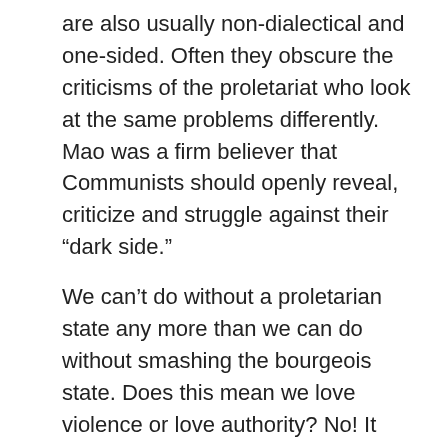are also usually non-dialectical and one-sided. Often they obscure the criticisms of the proletariat who look at the same problems differently. Mao was a firm believer that Communists should openly reveal, criticize and struggle against their “dark side.”
We can’t do without a proletarian state any more than we can do without smashing the bourgeois state. Does this mean we love violence or love authority? No! It means we are serious enough about ending wage slavery, and all of the evils of capitalist-imperialism, that we are willing to be scientific about revolution and go beyond an emotional response.